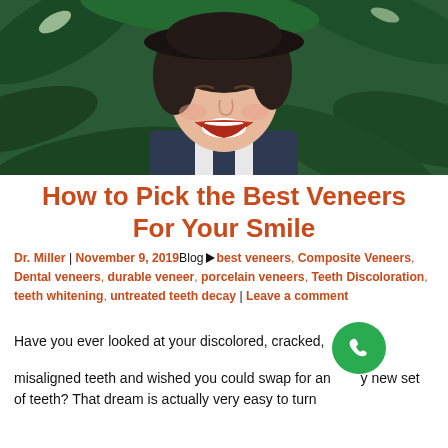[Figure (photo): A smiling young woman with short dark hair wearing a black hat, set against a background of large green tropical leaves. She is laughing with bright red lipstick.]
How to Pick the Best Veneers For Your Smile
Dr. Miller | November 9, 2019Blog best veneers, Composite Veneers, Dental veneers, durable veneer, porcelain veneers, Teeth Discoloration, teeth whitening, untreated teeth decay | Leave a comment
Have you ever looked at your discolored, cracked, misaligned teeth and wished you could swap for an entirely new set of teeth? That dream is actually very easy to turn